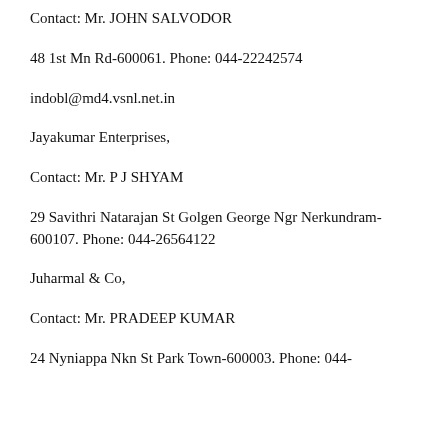Contact: Mr. JOHN SALVODOR
48 1st Mn Rd-600061. Phone: 044-22242574
indobl@md4.vsnl.net.in
Jayakumar Enterprises,
Contact: Mr. P J SHYAM
29 Savithri Natarajan St Golgen George Ngr Nerkundram-600107. Phone: 044-26564122
Juharmal & Co,
Contact: Mr. PRADEEP KUMAR
24 Nyniappa Nkn St Park Town-600003. Phone: 044-